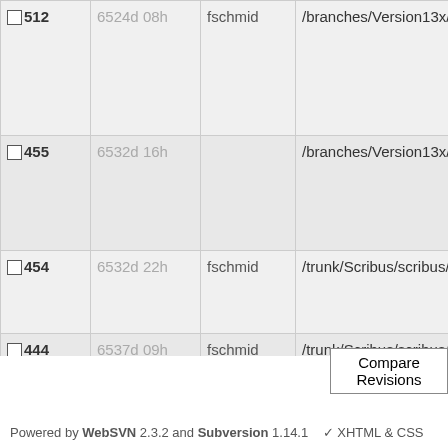| Rev | Age | Author | Path |
| --- | --- | --- | --- |
| 512 | 6524d 08h | fschmid | /branches/Version13x/ |
| 455 | 6532d 16h |  | /branches/Version13x/ |
| 454 | 6532d 22h | fschmid | /trunk/Scribus/scribus/ |
| 444 | 6537d 09h | fschmid | /trunk/Scribus/scribus/ |
Compare Revisions
Powered by WebSVN 2.3.2 and Subversion 1.14.1    ✓ XHTML & CSS